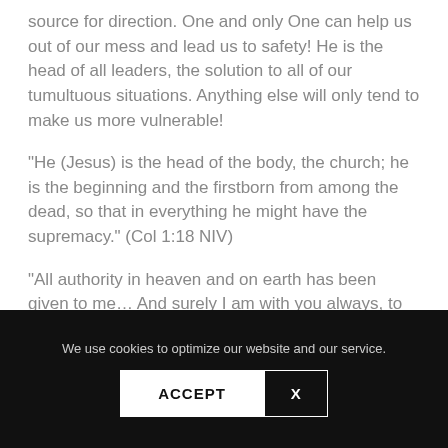source for direction. One and only One can help us out of our mess and lead us to safety! He is the head of all leaders, the solution to all of our tumultuous situations. Anything else will only tend to make us more vulnerable!
“He (Jesus) is the head of the body, the church; he is the beginning and the firstborn from among the dead, so that in everything he might have the supremacy.” (Col 1:18 NIV)
“All authority in heaven and on earth has been given to me… And surely I am with you always, to the very end of the age.” (Matt 28:18, 20 NIV)
We use cookies to optimize our website and our service.